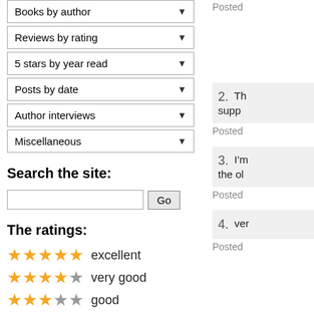Books by author ▾
Reviews by rating ▾
5 stars by year read ▾
Posts by date ▾
Author interviews ▾
Miscellaneous ▾
Search the site:
[Search input] Go
The ratings:
★★★★★ excellent
★★★★☆ very good
★★★☆☆ good
★★☆☆☆ fair
★☆☆☆☆ poor
Blog stats:
Posted
2. Th supp
Posted
3. I'm the ol
Posted
4. ver
Posted